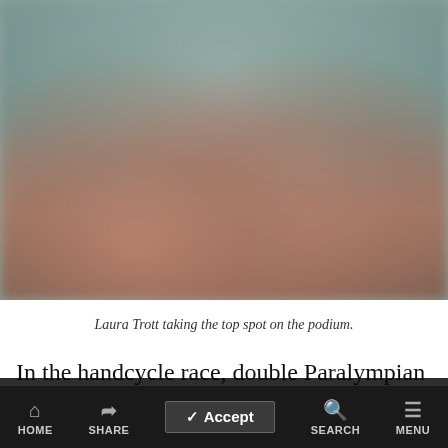[Figure (photo): Blurred photo of Laura Trott taking the top spot on the podium, showing figures in a ceremony setting with an outdoor background]
Laura Trott taking the top spot on the podium.
In the handcycle race, double Paralympian Champion Andrea Eskau from Germany gained a
Cookies help us deliver our services. By using this website, you agree to our use of cookies. Learn More
HOME  SHARE  SEARCH  MENU